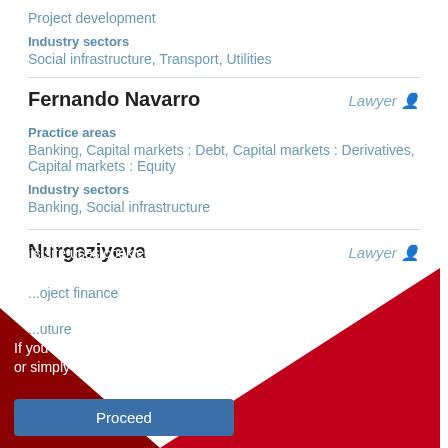Project development
Industry sectors
Social infrastructure, Transport, Utilities
Fernando Navarro
Lawyer
Practice areas
Banking, Capital markets : Debt, Capital markets : Derivatives, Capital markets : Equity
Industry sectors
Banking, Social infrastructure
Nurgaziyeva
Lawyer
...oject finance
...uture